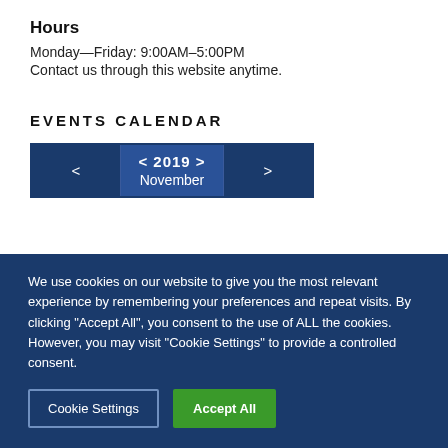Hours
Monday—Friday: 9:00AM–5:00PM
Contact us through this website anytime.
EVENTS CALENDAR
[Figure (other): Calendar navigation widget showing November 2019 with left and right navigation arrows]
We use cookies on our website to give you the most relevant experience by remembering your preferences and repeat visits. By clicking "Accept All", you consent to the use of ALL the cookies. However, you may visit "Cookie Settings" to provide a controlled consent.
Cookie Settings
Accept All